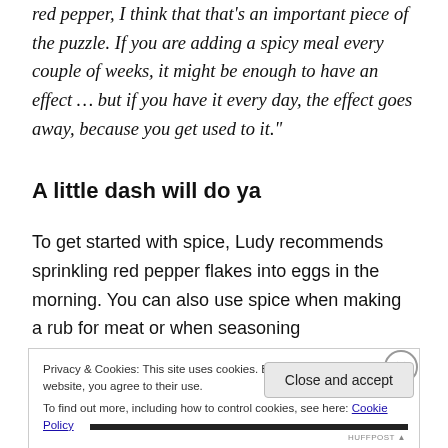red pepper, I think that that's an important piece of the puzzle. If you are adding a spicy meal every couple of weeks, it might be enough to have an effect … but if you have it every day, the effect goes away, because you get used to it."
A little dash will do ya
To get started with spice, Ludy recommends sprinkling red pepper flakes into eggs in the morning. You can also use spice when making a rub for meat or when seasoning
Privacy & Cookies: This site uses cookies. By continuing to use this website, you agree to their use.
To find out more, including how to control cookies, see here: Cookie Policy
Close and accept